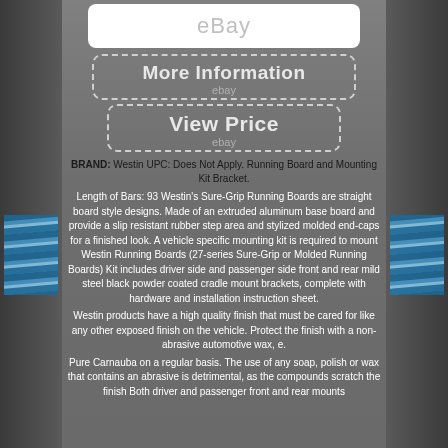[Figure (screenshot): eBay logo in white rounded rectangle box at top]
[Figure (screenshot): More Information button with dashed border and eBay label]
[Figure (screenshot): View Price button with dashed border and eBay label]
BRAND: Westin UPC: Does Not Apply. Running Board and Mounting Kit Bracket.
Length of Bars: 93 Westin's Sure-Grip Running Boards are straight board style designs. Made of an extruded aluminum base board and provide a slip resistant rubber step area and stylized molded end-caps for a finished look. A vehicle specific mounting kit is required to mount Westin Running Boards (27-series Sure-Grip or Molded Running Boards) Kit includes driver side and passenger side front and rear mild steel black powder coated cradle mount brackets, complete with hardware and installation instruction sheet.
Westin products have a high quality finish that must be cared for like any other exposed finish on the vehicle. Protect the finish with a non-abrasive automotive wax, e.
Pure Carnauba on a regular basis. The use of any soap, polish or wax that contains an abrasive is detrimental, as the compounds scratch the finish Both driver and passenger front and rear mounts